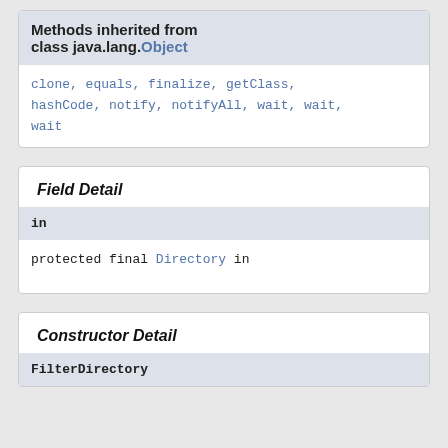| Methods inherited from class java.lang.Object |
| clone, equals, finalize, getClass, hashCode, notify, notifyAll, wait, wait, wait |
Field Detail
| in |
| protected final Directory in |
Constructor Detail
| FilterDirectory |